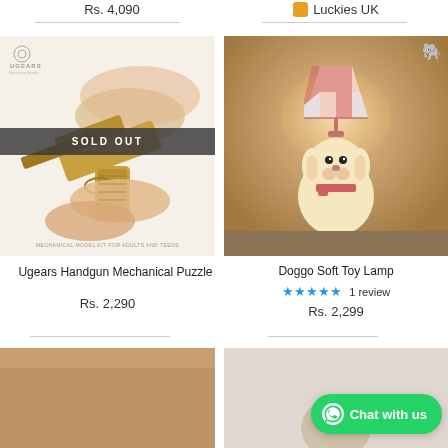Rs. 4,090
Luckies UK
[Figure (photo): Ugears Handgun Mechanical Puzzle product photo showing hands holding a wooden mechanical pistol model, with SOLD OUT banner overlay]
[Figure (photo): Doggo Soft Toy Lamp product photo showing a cute plush dog lamp with pink checkered lampshade on a wooden surface]
Ugears Handgun Mechanical Puzzle
Rs. 2,290
Doggo Soft Toy Lamp
★★★★★ 1 review
Rs. 2,299
[Figure (photo): Partial bottom-left product image, warm brown tones]
[Figure (photo): Partial bottom-right product image]
Chat with us